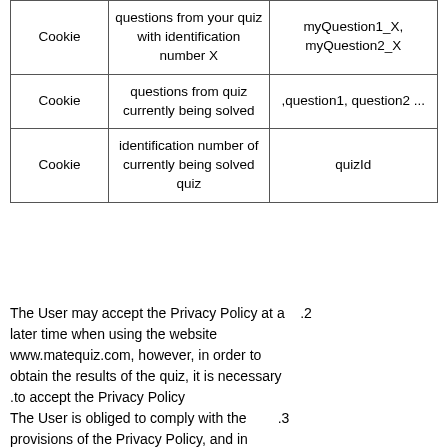| Cookie | questions from your quiz with identification number X | myQuestion1_X, myQuestion2_X |
| Cookie | questions from quiz currently being solved | ,question1, question2 ... |
| Cookie | identification number of currently being solved quiz | quizId |
The User may accept the Privacy Policy at a later time when using the website www.matequiz.com, however, in order to obtain the results of the quiz, it is necessary to accept the Privacy Policy. .2
The User is obliged to comply with the provisions of the Privacy Policy, and in .3